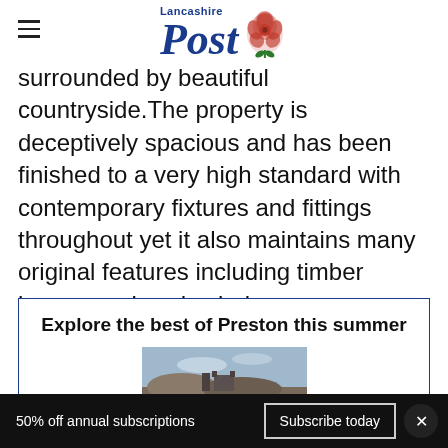Lancashire Post
surrounded by beautiful countryside.The property is deceptively spacious and has been finished to a very high standard with contemporary fixtures and fittings throughout yet it also maintains many original features including timber beams and sash windows.
Explore the best of Preston this summer
[Figure (photo): Promotional image of Preston landscape/cityscape]
50% off annual subscriptions   Subscribe today